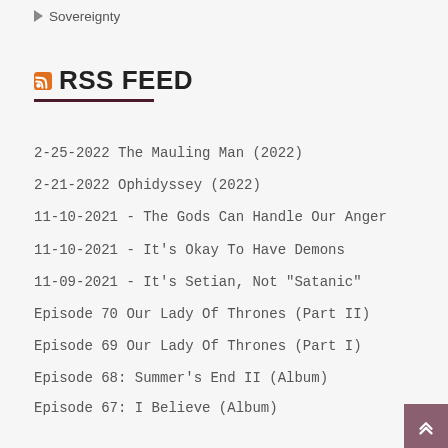Sovereignty
RSS FEED
2-25-2022 The Mauling Man (2022)
2-21-2022 Ophidyssey (2022)
11-10-2021 - The Gods Can Handle Our Anger
11-10-2021 - It's Okay To Have Demons
11-09-2021 - It's Setian, Not "Satanic"
Episode 70 Our Lady Of Thrones (Part II)
Episode 69 Our Lady Of Thrones (Part I)
Episode 68: Summer's End II (Album)
Episode 67: I Believe (Album)
Episode 66: Set Is Now (Album)
Episode 65: Pazuzu, The Exorcist (1973), And Sorcerer (1977)